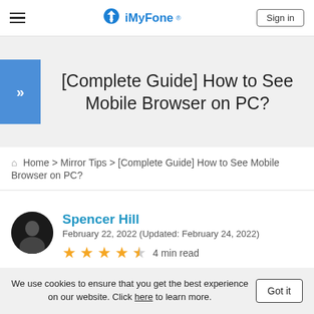iMyFone® — Sign in
[Complete Guide] How to See Mobile Browser on PC?
Home > Mirror Tips > [Complete Guide] How to See Mobile Browser on PC?
Spencer Hill
February 22, 2022 (Updated: February 24, 2022)
★★★★½  4 min read
We use cookies to ensure that you get the best experience on our website. Click here to learn more.  Got it